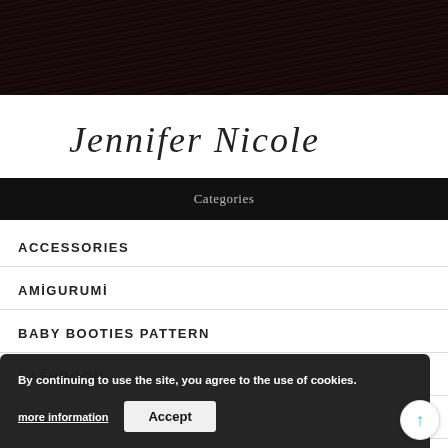[Figure (photo): Close-up photo of dark brown/black hair texture filling the top of the page]
Jennifer Nicole
Categories
ACCESSORIES
AMİGURUMİ
BABY BOOTIES PATTERN
BATHROOM
BEAUTY
By continuing to use the site, you agree to the use of cookies.
more information
Accept